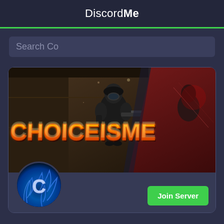DiscordMe
Search Co
[Figure (screenshot): Gaming Discord server banner for CHOICEISME featuring action game characters with fire text logo and blue flame avatar icon]
Join Server